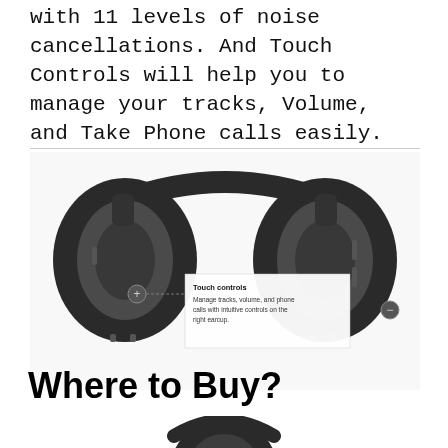with 11 levels of noise cancellations. And Touch Controls will help you to manage your tracks, Volume, and Take Phone calls easily. Make Shopping with Confidence.
[Figure (photo): Over-ear black headphones shown from the front, with an annotation tooltip reading 'Touch controls – Manage tracks, volume, and phone calls with intuitive controls on the right earcup.' A plus (+) icon appears on the left earcup and a minus (-) icon on the right.]
Where to Buy?
[Figure (photo): Partial view of black headphones visible at the bottom of the page.]